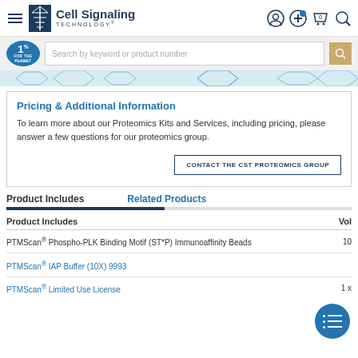Cell Signaling Technology — Navigation header with logo, hamburger menu, and icons
[Figure (screenshot): Search bar row with 1% for the Planet badge and keyword search input]
[Figure (illustration): Blue decorative hexagon pattern banner strip]
Pricing & Additional Information
To learn more about our Proteomics Kits and Services, including pricing, please answer a few questions for our proteomics group.
CONTACT THE CST PROTEOMICS GROUP
Product Includes
Related Products
| Product Includes | Vol |
| --- | --- |
| PTMScan® Phospho-PLK Binding Motif (ST*P) Immunoaffinity Beads | 10  |
| PTMScan® IAP Buffer (10X) 9993 |  |
| PTMScan® Limited Use License | 1 x |